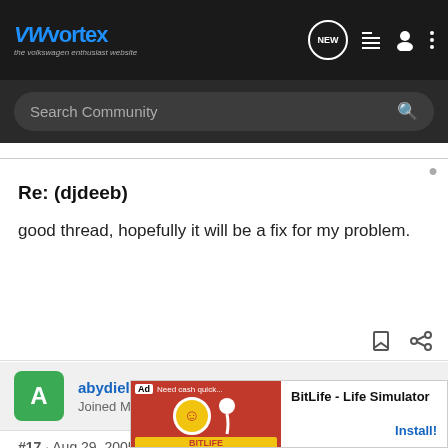VWvortex - the volkswagen enthusiast website
Search Community
Re: (djdeeb)
good thread, hopefully it will be a fix for my problem.
abydielsgli · Registered
Joined May 7, 2003 · 20,693 Posts
#17 · Aug 29, 2005
Re: (ve
[Figure (screenshot): BitLife - Life Simulator advertisement overlay with red/yellow background and Install button]